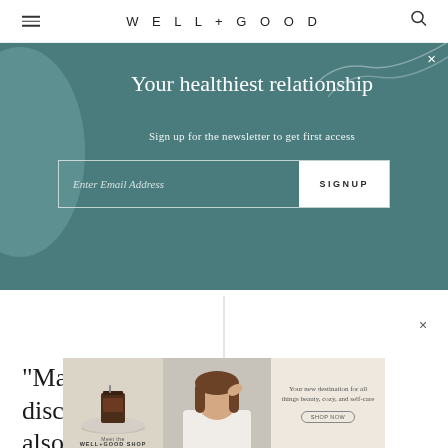WELL + GOOD
Your healthiest relationship
Sign up for the newsletter to get first access
Enter Email Address  SIGNUP
"Many couples are uncomfortable discussing how to initiate sex, and also
[Figure (screenshot): Well+Good Shop advertisement banner with product image, woman portrait, and text 'Your new destination for all things beauty, cozy, and self-care. Meet the WELL+GOOD SHOP']